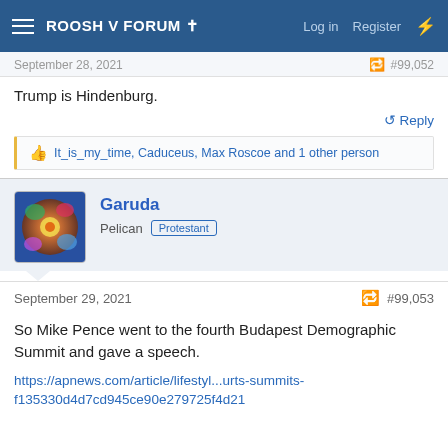ROOSH V FORUM ✝  Log in  Register
September 28, 2021  #99,052
Trump is Hindenburg.
👍 It_is_my_time, Caduceus, Max Roscoe and 1 other person
Garuda
Pelican  Protestant
September 29, 2021  #99,053
So Mike Pence went to the fourth Budapest Demographic Summit and gave a speech.
https://apnews.com/article/lifestyl...urts-summits-f135330d4d7cd945ce90e279725f4d21